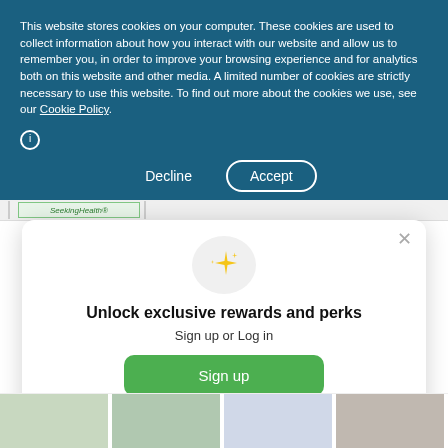This website stores cookies on your computer. These cookies are used to collect information about how you interact with our website and allow us to remember you, in order to improve your browsing experience and for analytics both on this website and other media. A limited number of cookies are strictly necessary to use this website. To find out more about the cookies we use, see our Cookie Policy.
Decline
Accept
Unlock exclusive rewards and perks
Sign up or Log in
Sign up
Already have an account? Sign in